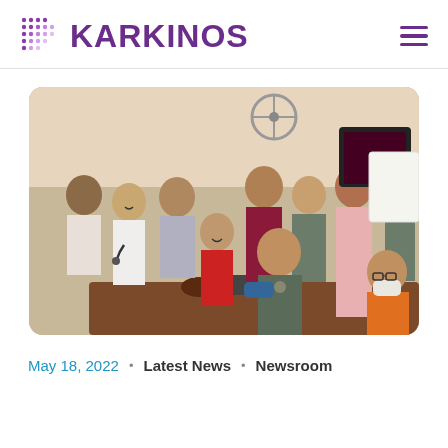KARKINOS
[Figure (photo): Group photo at a medical health screening event. A doctor with a stethoscope, several women including one in a police uniform being examined, a dignitary in traditional Indian dress, and medical staff. A blood pressure device is visible on the table.]
May 18, 2022 · Latest News · Newsroom